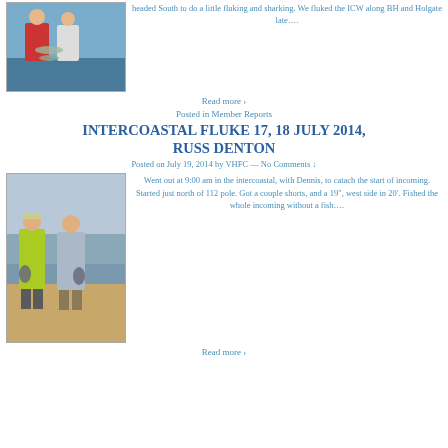[Figure (photo): Two people on a boat holding fish]
headed South to do a little fluking and sharking. We fluked the ICW along BH and Holgate late….
Read more ›
Posted in Member Reports
INTERCOASTAL FLUKE 17, 18 JULY 2014, RUSS DENTON
Posted on July 19, 2014 by VHFC — No Comments ↓
[Figure (photo): Two men standing outdoors holding flounder fish]
Went out at 9:00 am in the intercoastal, with Dennis, to catach the start of incoming. Started just north of 112 pole. Got a couple shorts, and a 19″, west side in 20′. Fished the whole incoming without a fish….
Read more ›